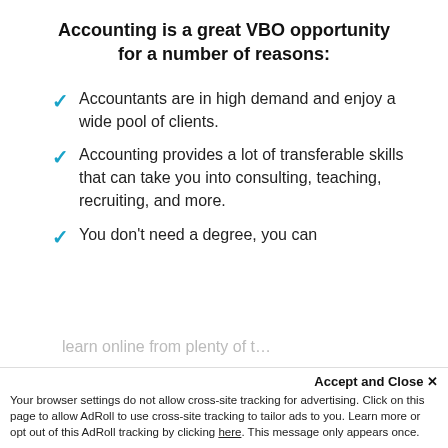Accounting is a great VBO opportunity for a number of reasons:
Accountants are in high demand and enjoy a wide pool of clients.
Accounting provides a lot of transferable skills that can take you into consulting, teaching, recruiting, and more.
You don't need a degree, you can learn online from plenty of t…
Accept and Close ✕
Your browser settings do not allow cross-site tracking for advertising. Click on this page to allow AdRoll to use cross-site tracking to tailor ads to you. Learn more or opt out of this AdRoll tracking by clicking here. This message only appears once.